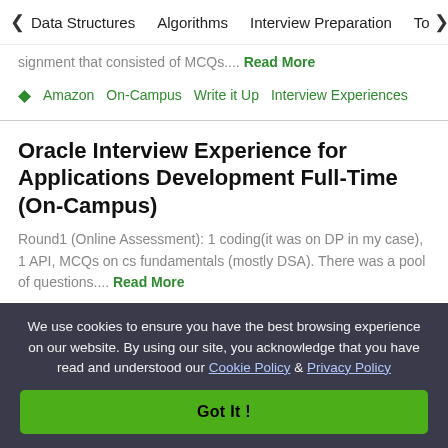< Data Structures   Algorithms   Interview Preparation   To>
signment that consisted of MCQs.... Read More
Amazon   On-Campus   Write it Up   Interview Experiences
Oracle Interview Experience for Applications Development Full-Time (On-Campus)
Round1 (Online Assessment): 1 coding(it was on DP in my case), 1 API, MCQs on cs fundamentals (mostly DSA). There was a pool of questions.... Read More
On-Campus   Oracle   Write it Up   Interview Experiences
We use cookies to ensure you have the best browsing experience on our website. By using our site, you acknowledge that you have read and understood our Cookie Policy & Privacy Policy
Got It !